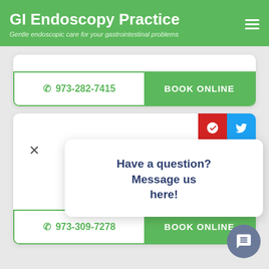GI Endoscopy Practice
Gentle endoscopic care for your gastrointestinal problems
973-282-7415
BOOK ONLINE
1081 Parsippany ... 102, Parsippa...
973-309-7278
BOOK ONLINE
Have a question? Message us here!